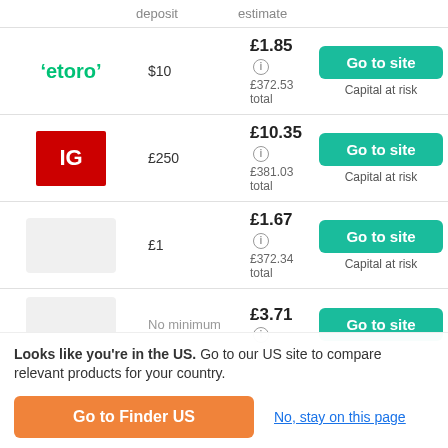|  | deposit | estimate |  |
| --- | --- | --- | --- |
| eToro | $10 | £1.85
£372.53 total | Go to site
Capital at risk |
| IG | £250 | £10.35
£381.03 total | Go to site
Capital at risk |
| [logo] | £1 | £1.67
£372.34 total | Go to site
Capital at risk |
| [logo] | No minimum | £3.71 | Go to site |
Looks like you're in the US. Go to our US site to compare relevant products for your country.
Go to Finder US
No, stay on this page